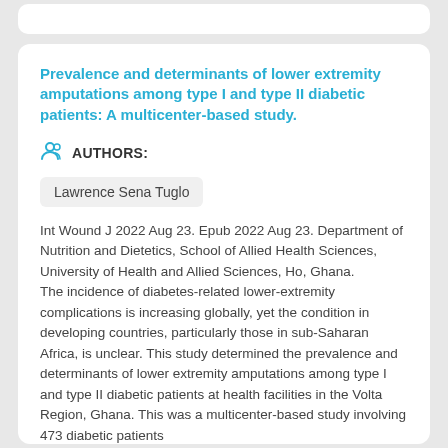Prevalence and determinants of lower extremity amputations among type I and type II diabetic patients: A multicenter-based study.
AUTHORS:
Lawrence Sena Tuglo
Int Wound J 2022 Aug 23. Epub 2022 Aug 23. Department of Nutrition and Dietetics, School of Allied Health Sciences, University of Health and Allied Sciences, Ho, Ghana.
The incidence of diabetes-related lower-extremity complications is increasing globally, yet the condition in developing countries, particularly those in sub-Saharan Africa, is unclear. This study determined the prevalence and determinants of lower extremity amputations among type I and type II diabetic patients at health facilities in the Volta Region, Ghana. This was a multicenter-based study involving 473 diabetic patients